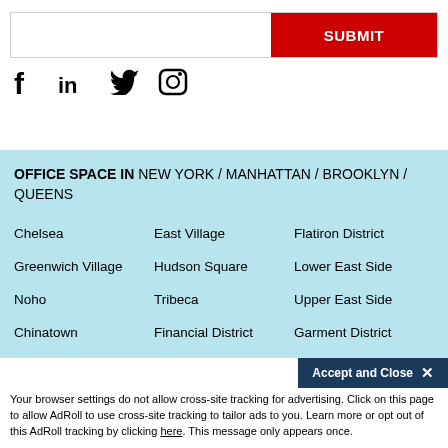[Figure (infographic): Search bar with white input field and red SUBMIT button]
[Figure (infographic): Social media icons: Facebook, LinkedIn, Twitter, Instagram]
OFFICE SPACE IN NEW YORK / MANHATTAN / BROOKLYN / QUEENS
Chelsea
East Village
Flatiron District
Greenwich Village
Hudson Square
Lower East Side
Noho
Tribeca
Upper East Side
Chinatown
Financial District
Garment District
Harlem
Little Italy
Midtown
SoHo
Union Square
Accept and Close ×
Your browser settings do not allow cross-site tracking for advertising. Click on this page to allow AdRoll to use cross-site tracking to tailor ads to you. Learn more or opt out of this AdRoll tracking by clicking here. This message only appears once.